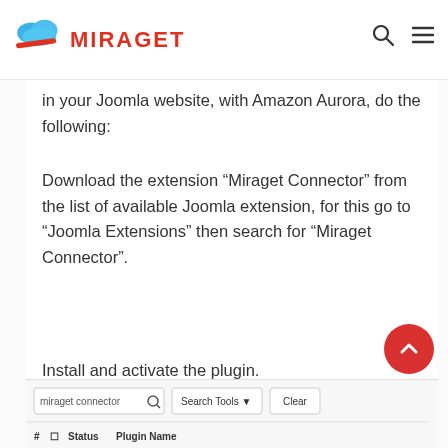MIRAGET
in your Joomla website, with Amazon Aurora, do the following:
Download the extension “Miraget Connector” from the list of available Joomla extension, for this go to “Joomla Extensions” then search for “Miraget Connector”.
Install and activate the plugin.
[Figure (screenshot): Screenshot showing a Joomla extensions search interface with 'miraget connector' typed in a search box, along with Search Tools and Clear buttons, and a table header row showing Status and Plugin Name columns.]